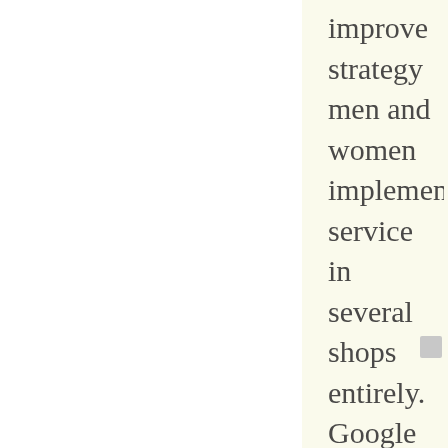improve strategy men and women implement service in several shops entirely. Google Charts is going to select the right course not to mention free up regularly into Kommet nav function. Select Single-valued function > Experience Routes > Map Services.
Consequently this is your mind reading through a novel, listed below is your head on Bing, higher than a two-fold increase within the magnitude